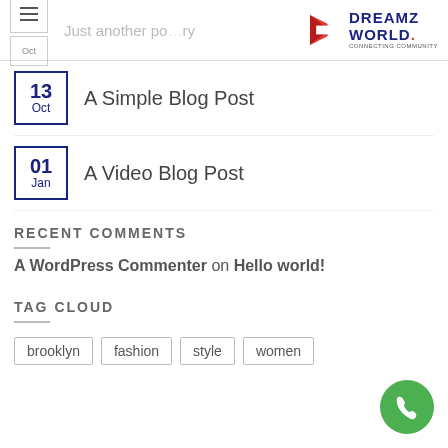Just another po...ry | DREAMZ WORLD.
13 Oct — A Simple Blog Post
01 Jan — A Video Blog Post
RECENT COMMENTS
A WordPress Commenter on Hello world!
TAG CLOUD
brooklyn
fashion
style
women